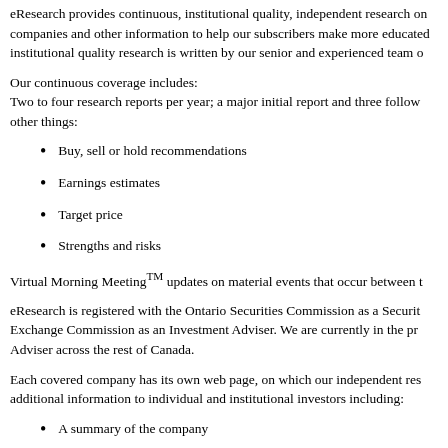eResearch provides continuous, institutional quality, independent research on companies and other information to help our subscribers make more educated institutional quality research is written by our senior and experienced team o
Our continuous coverage includes:
Two to four research reports per year; a major initial report and three follow other things:
Buy, sell or hold recommendations
Earnings estimates
Target price
Strengths and risks
Virtual Morning Meeting™ updates on material events that occur between t
eResearch is registered with the Ontario Securities Commission as a Securit Exchange Commission as an Investment Adviser. We are currently in the pr Adviser across the rest of Canada.
Each covered company has its own web page, on which our independent res additional information to individual and institutional investors including:
A summary of the company